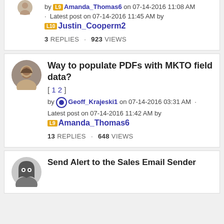by Amanda_Thomas6 on 07-14-2016 11:08 AM · Latest post on 07-14-2016 11:45 AM by Justin_Cooperm2
3 REPLIES · 923 VIEWS
Way to populate PDFs with MKTO field data? [1 2]
by Geoff_Krajeski1 on 07-14-2016 03:31 AM · Latest post on 07-14-2016 11:42 AM by Amanda_Thomas6
13 REPLIES · 648 VIEWS
Send Alert to the Sales Email Sender